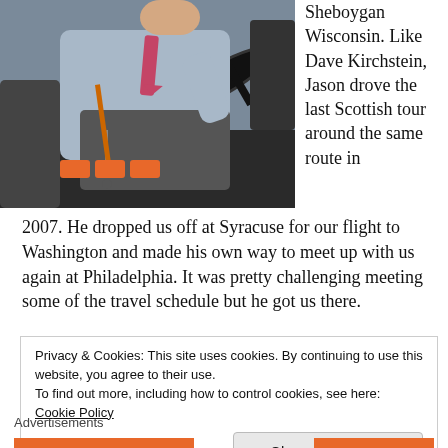[Figure (photo): A bus driver sitting in the driver's seat of a coach bus, wearing a light blue shirt and tie, with keys hanging from belt, hands on the steering wheel, viewed from the side/front.]
Sheboygan Wisconsin. Like Dave Kirchstein, Jason drove the last Scottish tour around the same route in 2007. He dropped us off at Syracuse for our flight to Washington and made his own way to meet up with us again at Philadelphia. It was pretty challenging meeting some of the travel schedule but he got us there.
Privacy & Cookies: This site uses cookies. By continuing to use this website, you agree to their use.
To find out more, including how to control cookies, see here: Cookie Policy
Close and accept
Advertisements